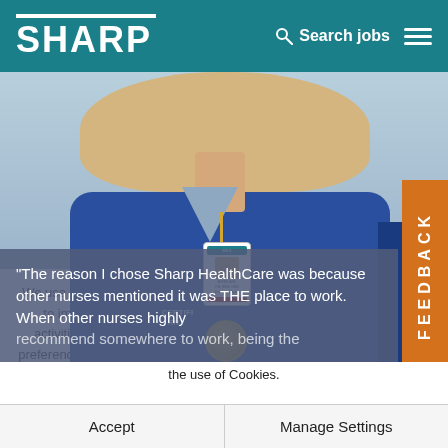SHARP | Search jobs
[Figure (photo): Photo of a nurse wearing blue scrubs with a hospital ID badge and certified RN medallion.]
"The reason I chose Sharp HealthCare was because other nurses mentioned it was THE place to work. When other nurses highly recommend somewhere to work, being the
We use cookies and other tracking technologies to support navigation, to improve our products and services, to support our marketing activities and to provide content from third parties. To manage your preferences, select "Manage Settings" or choose "Accept" to consent to the use of Cookies.
Accept | Manage Settings